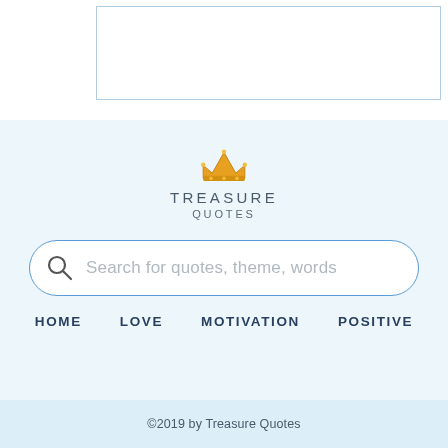[Figure (screenshot): White box/rectangle at top of page, representing a browser or ad placeholder region.]
[Figure (logo): Treasure Quotes logo: golden crown icon above the text TREASURE QUOTES in uppercase spaced letters.]
[Figure (screenshot): Search bar with magnifying glass icon and placeholder text 'Search for quotes, theme, words']
HOME   LOVE   MOTIVATION   POSITIVE
©2019 by Treasure Quotes